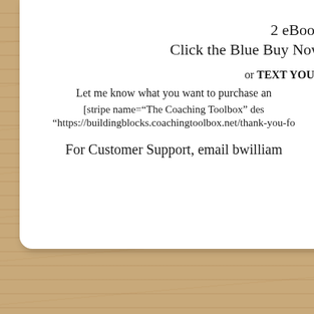2 eBook
Click the Blue Buy Now
or TEXT YOUR
Let me know what you want to purchase an
[stripe name="The Coaching Toolbox" desc
="https://buildingblocks.coachingtoolbox.net/thank-you-fo
For Customer Support, email bwilliam